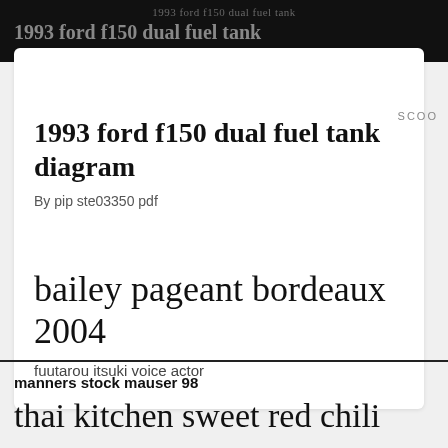1993 ford f150 dual fuel tank diagram
By pip ste03350 pdf
bailey pageant bordeaux 2004
fuutarou itsuki voice actor
manners stock mauser 98
thai kitchen sweet red chili